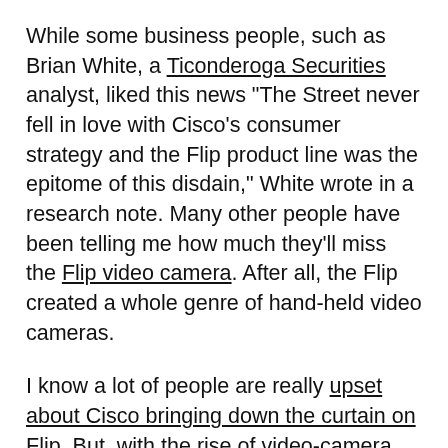While some business people, such as Brian White, a Ticonderoga Securities analyst, liked this news "The Street never fell in love with Cisco's consumer strategy and the Flip product line was the epitome of this disdain," White wrote in a research note. Many other people have been telling me how much they'll miss the Flip video camera. After all, the Flip created a whole genre of hand-held video cameras.
I know a lot of people are really upset about Cisco bringing down the curtain on Flip. But, with the rise of video-camera equipped smartphones, others didn't think the Flip could have made it no matter what Cisco did with it.
Me? I think the Flip was history. I liked it, but my